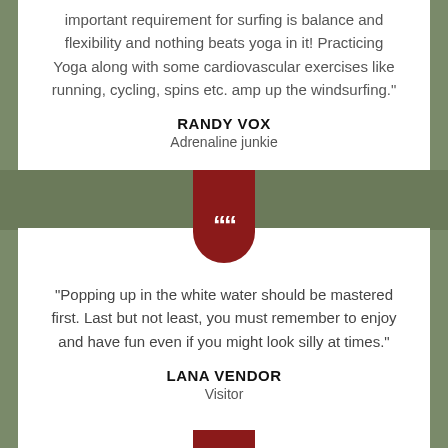important requirement for surfing is balance and flexibility and nothing beats yoga in it! Practicing Yoga along with some cardiovascular exercises like running, cycling, spins etc. amp up the windsurfing."
RANDY VOX
Adrenaline junkie
[Figure (illustration): Dark red shield/badge icon with white double quotation marks]
"Popping up in the white water should be mastered first. Last but not least, you must remember to enjoy and have fun even if you might look silly at times."
LANA VENDOR
Visitor